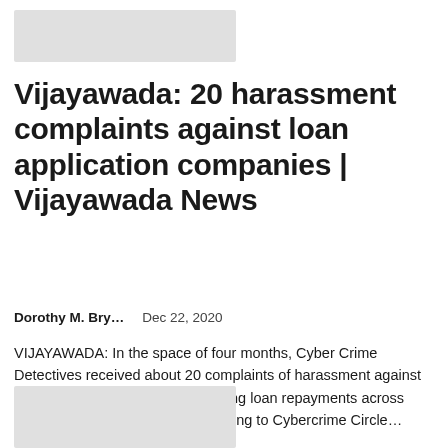[Figure (other): Gray placeholder image at top]
Vijayawada: 20 harassment complaints against loan application companies | Vijayawada News
Dorothy M. Bry…    Dec 22, 2020
VIJAYAWADA: In the space of four months, Cyber Crime Detectives received about 20 complaints of harassment against micro finance applications regarding loan repayments across Vijayawada Police Station. According to Cybercrime Circle…
[Figure (other): Gray placeholder image at bottom]